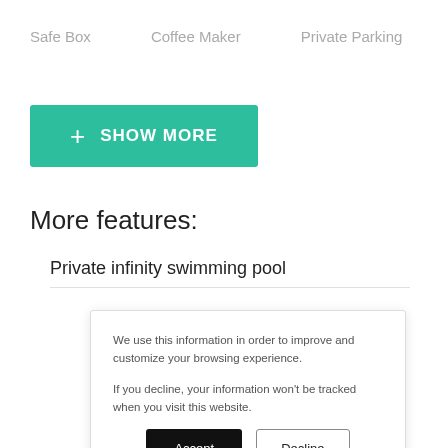Safe Box
Coffee Maker
Private Parking
+ SHOW MORE
More features:
Private infinity swimming pool
We use this information in order to improve and customize your browsing experience.
If you decline, your information won't be tracked when you visit this website.
Accept
Decline